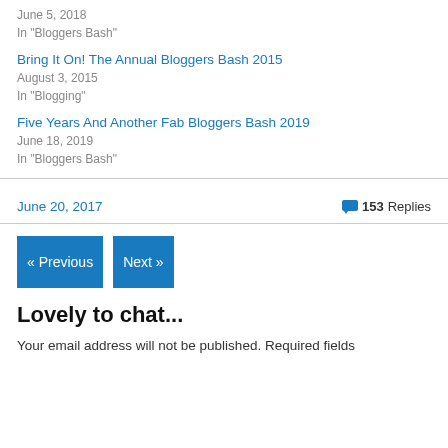June 5, 2018
In "Bloggers Bash"
Bring It On! The Annual Bloggers Bash 2015
August 3, 2015
In "Blogging"
Five Years And Another Fab Bloggers Bash 2019
June 18, 2019
In "Bloggers Bash"
June 20, 2017
153 Replies
« Previous
Next »
Lovely to chat...
Your email address will not be published. Required fields